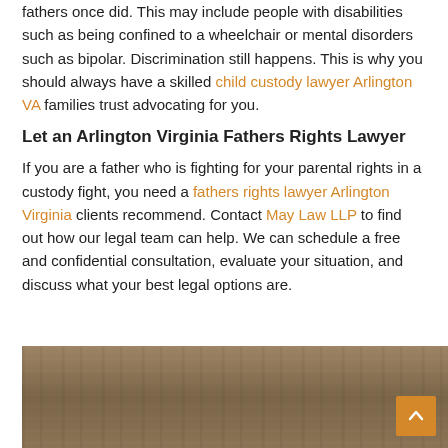fathers once did. This may include people with disabilities such as being confined to a wheelchair or mental disorders such as bipolar. Discrimination still happens. This is why you should always have a skilled child custody lawyer Arlington VA families trust advocating for you.
Let an Arlington Virginia Fathers Rights Lawyer
If you are a father who is fighting for your parental rights in a custody fight, you need a fathers rights lawyer Arlington Virginia clients recommend. Contact May Law LLP to find out how our legal team can help. We can schedule a free and confidential consultation, evaluate your situation, and discuss what your best legal options are.
[Figure (photo): Photo of a wooden surface/desk, partially visible at the bottom of the page, with a back-to-top scroll button (orange square with upward chevron) in the bottom right corner.]